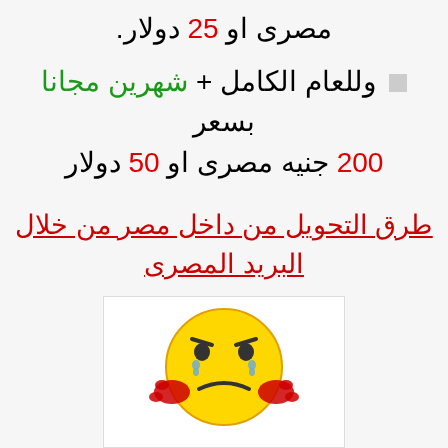مصرى او 25 دولار.
وللعام الكامل + شهرين مجانا بسعر 200 جنيه مصرى او 50 دولار
طرق التحويل من داخل مصر من خلال البريد المصرى
[Figure (illustration): Sad/worried yellow smiley face emoji with red hands on cheeks and blue tears]